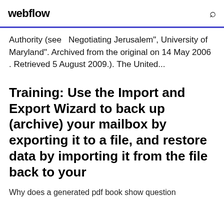webflow
Authority (see   Negotiating Jerusalem", University of Maryland". Archived from the original on 14 May 2006 . Retrieved 5 August 2009.). The United...
Training: Use the Import and Export Wizard to back up (archive) your mailbox by exporting it to a file, and restore data by importing it from the file back to your
Why does a generated pdf book show question